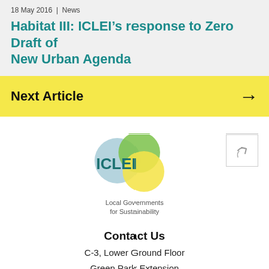18 May 2016 | News
Habitat III: ICLEI’s response to Zero Draft of New Urban Agenda
Next Article →
[Figure (logo): ICLEI – Local Governments for Sustainability logo with overlapping teal, light blue, and yellow/green circles]
Contact Us
C-3, Lower Ground Floor
Green Park Extension
New Delhi - 110016, India
Tel. +91 – 11 – 4974 7200
Fax +91 - 11 - 4974 7201